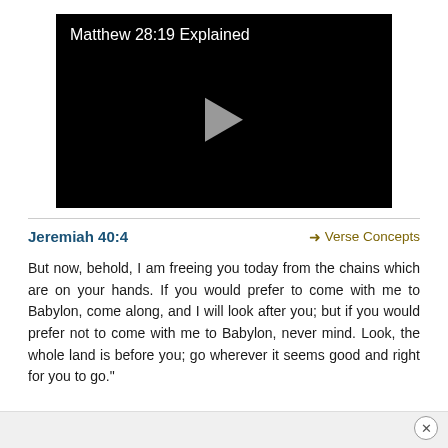[Figure (screenshot): Video player with black background showing title 'Matthew 28:19 Explained' and a play button in the center]
Jeremiah 40:4
➜ Verse Concepts
But now, behold, I am freeing you today from the chains which are on your hands. If you would prefer to come with me to Babylon, come along, and I will look after you; but if you would prefer not to come with me to Babylon, never mind. Look, the whole land is before you; go wherever it seems good and right for you to go."